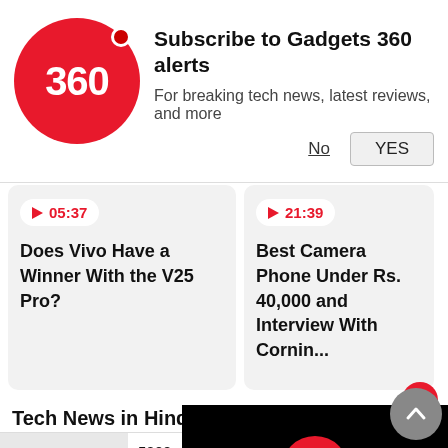[Figure (screenshot): Gadgets 360 subscription notification banner with red circular logo showing '360', title 'Subscribe to Gadgets 360 alerts', subtitle 'For breaking tech news, latest reviews, and more', and No/YES buttons]
[Figure (screenshot): Video card: play button showing 05:37, title 'Does Vivo Have a Winner With the V25 Pro?']
[Figure (screenshot): Video card: play button showing 21:39, title 'Best Camera Phone Under Rs. 40,000 and Interview With Cornin...']
Tech News in Hindi »
5000mAh बैटरी, 4GB रैम और धमाकेदार कैमरे, जानें कीमत
[Figure (photo): Digital Freedom - Birth right of every Indian, blue banner with person at podium]
Reliance Jio ने लॉन्च की भारत में पहली 5G स्मार्टफोन सीरीज बिना ब्रांड